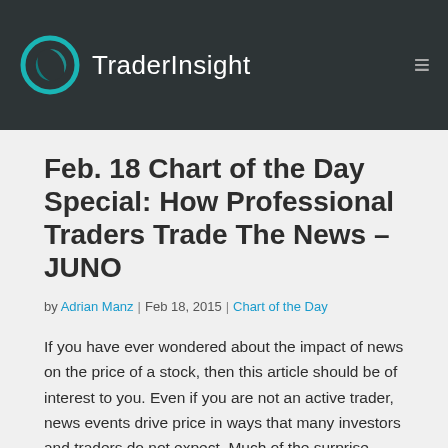TraderInsight
Feb. 18 Chart of the Day Special: How Professional Traders Trade The News – JUNO
by Adrian Manz | Feb 18, 2015 | Chart of the Day
If you have ever wondered about the impact of news on the price of a stock, then this article should be of interest to you. Even if you are not an active trader, news events drive price in ways that many investors and traders do not expect. Much of the surprise